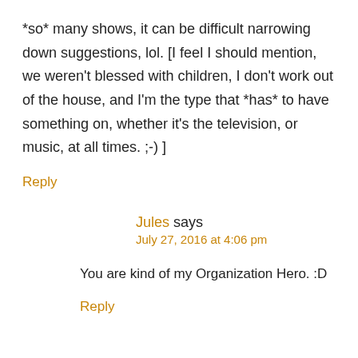*so* many shows, it can be difficult narrowing down suggestions, lol. [I feel I should mention, we weren't blessed with children, I don't work out of the house, and I'm the type that *has* to have something on, whether it's the television, or music, at all times. ;-) ]
Reply
Jules says
July 27, 2016 at 4:06 pm
You are kind of my Organization Hero. :D
Reply